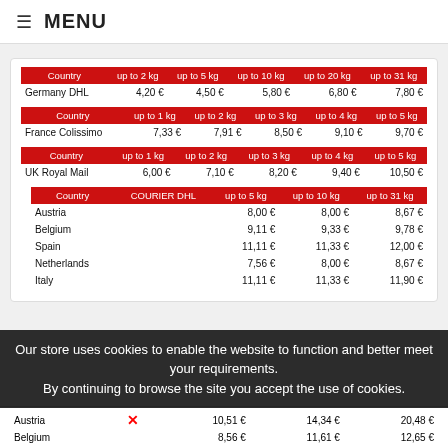≡ MENU
| Country | up to 2 kg | up to 5 kg | up to 10 kg | up to 20 kg | up to 31 kg |
| --- | --- | --- | --- | --- | --- |
| Germany DHL | 4,20 € | 4,50 € | 5,80 € | 6,80 € | 7,80 € |
| Country | up to 1 kg | up to 2 kg | up to 3 kg | up to 4 kg | up to 5 kg |
| --- | --- | --- | --- | --- | --- |
| France Colissimo | 7,33 € | 7,91 € | 8,50 € | 9,10 € | 9,70 € |
| Country | up to 1 kg | up to 2 kg | up to 3 kg | up to 4 kg | up to 5 kg |
| --- | --- | --- | --- | --- | --- |
| UK Royal Mail | 6,00 € | 7,10 € | 8,20 € | 9,40 € | 10,50 € |
| Country | COURIER DHL | up to 5 kg | up to 10 kg | up to 31 kg |
| --- | --- | --- | --- | --- |
| Austria |  | 8,00 € | 8,00 € | 8,67 € |
| Belgium |  | 9,11 € | 9,33 € | 9,78 € |
| Spain |  | 11,11 € | 11,33 € | 12,00 € |
| Netherlands |  | 7,56 € | 8,00 € | 8,67 € |
| Italy |  | 11,11 € | 11,33 € | 11,90 € |
Our store uses cookies to enable the website to function and better meet your requirements. By continuing to browse the site you accept the use of cookies.
| Austria | ✗ | 10,51 € | 14,34 € | 20,48 € |
| Belgium |  | 8,56 € | 11,61 € | 12,65 € |